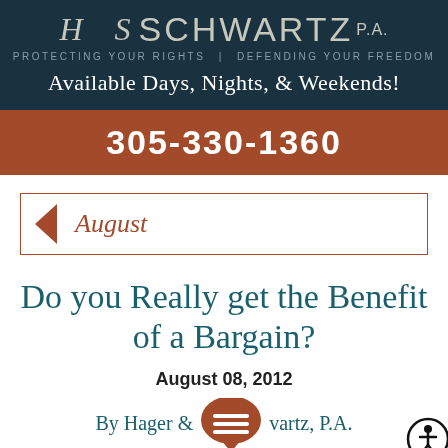[Figure (logo): H&S Schwartz P.A. law firm logo with tagline 'Protecting Your Rights | Defending Your Freedom' on dark teal background]
Available Days, Nights, & Weekends!
305-330-1360
August
Do you Really get the Benefit of a Bargain?
August 08, 2012
By Hager & Schwartz, P.A.